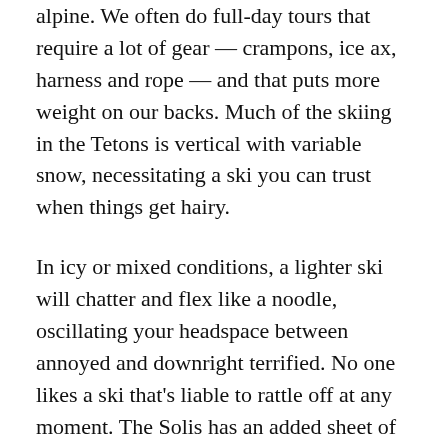alpine. We often do full-day tours that require a lot of gear — crampons, ice ax, harness and rope — and that puts more weight on our backs. Much of the skiing in the Tetons is vertical with variable snow, necessitating a ski you can trust when things get hairy.
In icy or mixed conditions, a lighter ski will chatter and flex like a noodle, oscillating your headspace between annoyed and downright terrified. No one likes a ski that's liable to rattle off at any moment. The Solis has an added sheet of titanium that increases the stiffness and decreases defection, which is especially helpful in crud and chopped up snow. This added stability is crucial, especially in no fall zones.